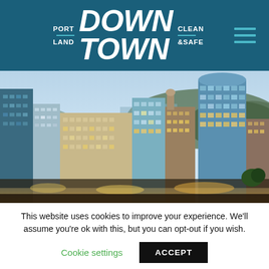PORTLAND DOWNTOWN CLEAN & SAFE
[Figure (photo): Aerial twilight photograph of Portland downtown skyline showing multiple high-rise office buildings, city streets with lights, and hills in the background under a blue sky.]
This website uses cookies to improve your experience. We'll assume you're ok with this, but you can opt-out if you wish.
Cookie settings   ACCEPT